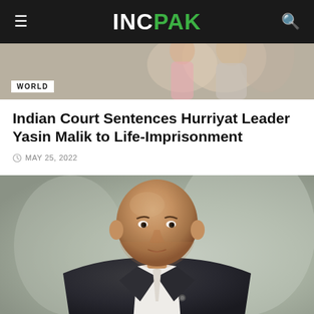INCPAK
[Figure (photo): Top cropped image of people in background, with WORLD category badge overlay]
Indian Court Sentences Hurriyat Leader Yasin Malik to Life-Imprisonment
MAY 25, 2022
[Figure (photo): Portrait photo of a bald man in a dark suit with white shirt, serious expression, blurred outdoor background]